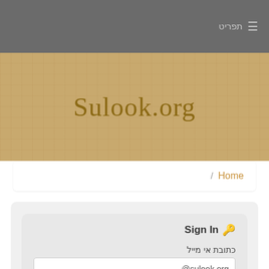תפריט ≡
Sulook.org
/ Home
Sign In 🔑
כתובת אי מייל
sulook.org@
סיסמא